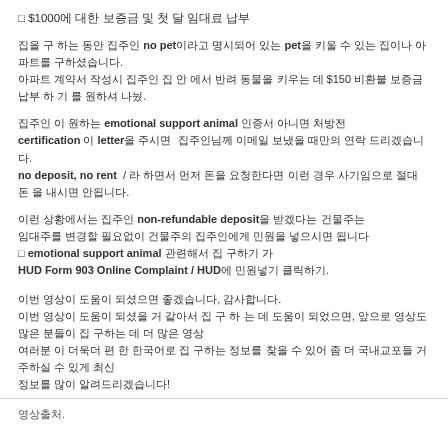□ $1000에 대한 보증금 및 첫 달 임대료 납부
집을 구 하는 동안 집주인 no pet이라고 명시되어 있는 pet을 키울 수 있는 집이나 아파트를 구하셨습니다. 아파트 계약서 작성시 집주인 집 안 에서 반려 동물을 키우는 데 $150 비환불 보증금 납부 하 기 를 원하셔 나눴.
집주인 이 원하는 emotional support animal 인증서 아니면 처방전 certification 이 letter을 주시면  집주인님께 이메일 보냈을 때만의 연락 드리겠습니다.
no deposit, no rent  / 라 하면서 먼저 돈을 요청한다면 이런 경우 사기임으로 절대 돈 을 내시면 안됩니다.
이런 상황에서는 집주인 non-refundable deposit을 받겠다는 건물주는 임대주를 변경할 필요없이 건물주의 집주인에게 민원을 넣으시면 됩니다.
□ emotional support animal 관련해서 집 구하기 가
HUD Form 903 Online Complaint / HUD에 민원넣기 클릭하기.
이번 영상이 도움이 되셨으면 좋겠습니다, 감사합니다.
이번 영상이 도움이 되셨을 거 같아서 집 구 하 는 데 도움이 되었으면, 앞으로 영상도 많은 분들이 집 구하는 데 더 많은 영상
여러분 이 더욱더 편 한 한국어로 집 구하는 정보를 찾을 수 있어 좀 더 국내교포들 거주하실 수 있게 최신
정보를 많이 알려드리겠습니다!
영상출처.